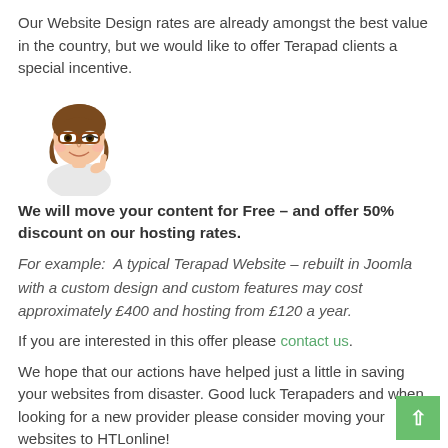Our Website Design rates are already amongst the best value in the country, but we would like to offer Terapad clients a special incentive.
[Figure (illustration): Cartoon illustration of a woman with glasses and brown hair, appearing to think or consider something]
We will move your content for Free – and offer 50% discount on our hosting rates.
For example:  A typical Terapad Website – rebuilt in Joomla with a custom design and custom features may cost approximately £400 and hosting from £120 a year.
If you are interested in this offer please contact us.
We hope that our actions have helped just a little in saving your websites from disaster. Good luck Terapaders and when looking for a new provider please consider moving your websites to HTLonline!